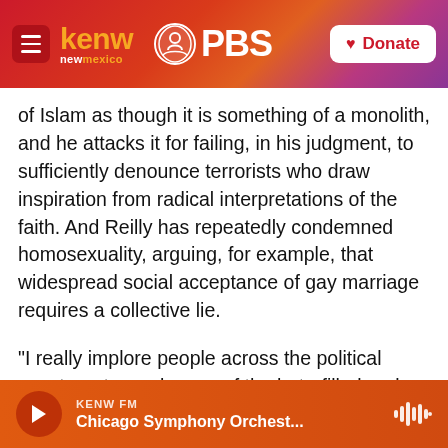kenw new mexico PBS — Donate
of Islam as though it is something of a monolith, and he attacks it for failing, in his judgment, to sufficiently denounce terrorists who draw inspiration from radical interpretations of the faith. And Reilly has repeatedly condemned homosexuality, arguing, for example, that widespread social acceptance of gay marriage requires a collective lie.
"I really implore people across the political spectrum to read some of the hate-filled and dehumanizing things Robert Reilly has written about gay people," former U.S. Agency for Global
KENW FM — Chicago Symphony Orchest...